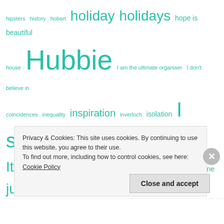[Figure (other): Tag cloud with teal/turquoise colored words of varying font sizes representing blog tags including: hipsters, history, hobart, holiday, holidays, hope is beautiful, house, Hubbie, I am the ultimate organiser, I don't believe in coincidences, inequality, inspiration, inverloch, isolation, I swear, Italian, Italy, J.K. Rowling, Jane Austen, January, july, june, just, listen to me, keep on moving, kids, kids activities, kindergarten, laughing, leo, lessons, lie, life, life and death, life discoveries, life rules, lions, list, locals, love, Lovely Lyrics, main street, march, married life, may, meditate, Melbourne, Melbourne weather, memories, men, mernda, metaphor]
Privacy & Cookies: This site uses cookies. By continuing to use this website, you agree to their use.
To find out more, including how to control cookies, see here: Cookie Policy
Close and accept